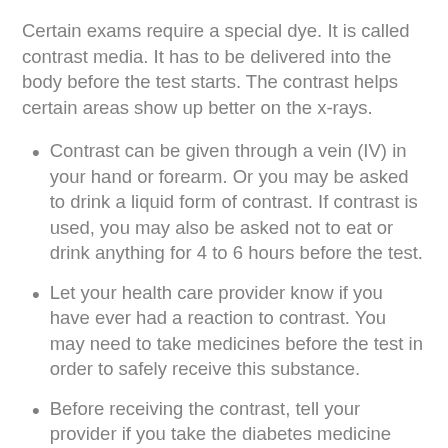Certain exams require a special dye. It is called contrast media. It has to be delivered into the body before the test starts. The contrast helps certain areas show up better on the x-rays.
Contrast can be given through a vein (IV) in your hand or forearm. Or you may be asked to drink a liquid form of contrast. If contrast is used, you may also be asked not to eat or drink anything for 4 to 6 hours before the test.
Let your health care provider know if you have ever had a reaction to contrast. You may need to take medicines before the test in order to safely receive this substance.
Before receiving the contrast, tell your provider if you take the diabetes medicine